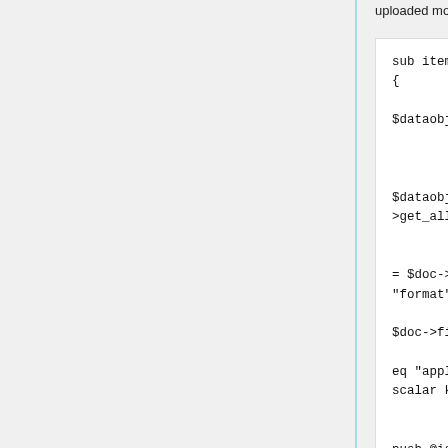uploaded more than 1 file.
sub item_issues
{
        my( $plugin,
$dataobj ) = @_;

        my @issues;
        foreach my $doc (
$dataobj-
>get_all_documents )
        {
                my $format
= $doc->get_value(
"format" );
                my %files =
$doc->files;
                if( $format
eq "application/pdf" &&
scalar keys %files > 1 )
                {

push @issues, {

id => "extra_files_"